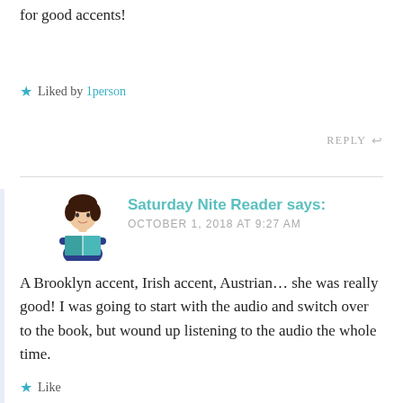for good accents!
★ Liked by 1person
REPLY ↩
Saturday Nite Reader says: OCTOBER 1, 2018 AT 9:27 AM
A Brooklyn accent, Irish accent, Austrian… she was really good! I was going to start with the audio and switch over to the book, but wound up listening to the audio the whole time.
★ Like